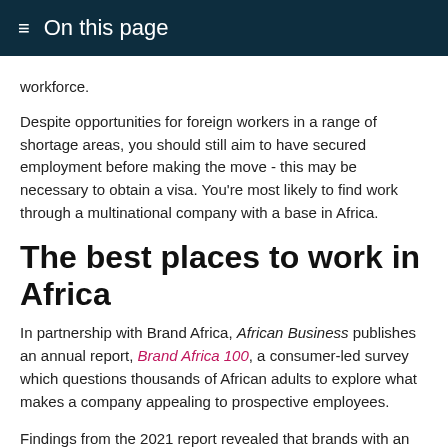≡  On this page
workforce.
Despite opportunities for foreign workers in a range of shortage areas, you should still aim to have secured employment before making the move - this may be necessary to obtain a visa. You're most likely to find work through a multinational company with a base in Africa.
The best places to work in Africa
In partnership with Brand Africa, African Business publishes an annual report, Brand Africa 100, a consumer-led survey which questions thousands of African adults to explore what makes a company appealing to prospective employees.
Findings from the 2021 report revealed that brands with an international presence continued to dominate the list, with the top five made up of: